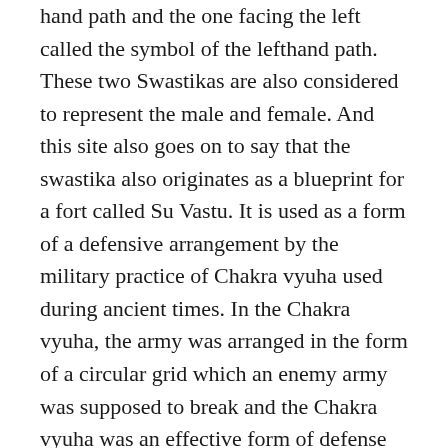hand path and the one facing the left called the symbol of the lefthand path. These two Swastikas are also considered to represent the male and female. And this site also goes on to say that the swastika also originates as a blueprint for a fort called Su Vastu. It is used as a form of a defensive arrangement by the military practice of Chakra vyuha used during ancient times. In the Chakra vyuha, the army was arranged in the form of a circular grid which an enemy army was supposed to break and the Chakra vyuha was an effective form of defense and it was very difficult to